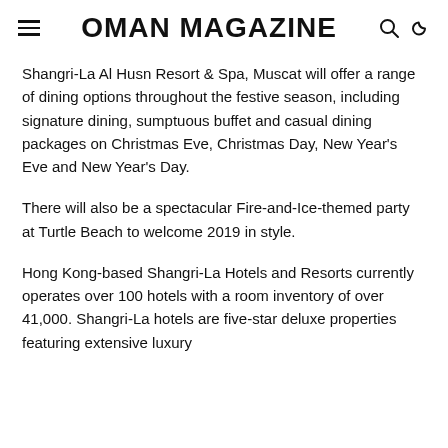OMAN MAGAZINE
Shangri-La Al Husn Resort & Spa, Muscat will offer a range of dining options throughout the festive season, including signature dining, sumptuous buffet and casual dining packages on Christmas Eve, Christmas Day, New Year's Eve and New Year's Day.
There will also be a spectacular Fire-and-Ice-themed party at Turtle Beach to welcome 2019 in style.
Hong Kong-based Shangri-La Hotels and Resorts currently operates over 100 hotels with a room inventory of over 41,000. Shangri-La hotels are five-star deluxe properties featuring extensive luxury…